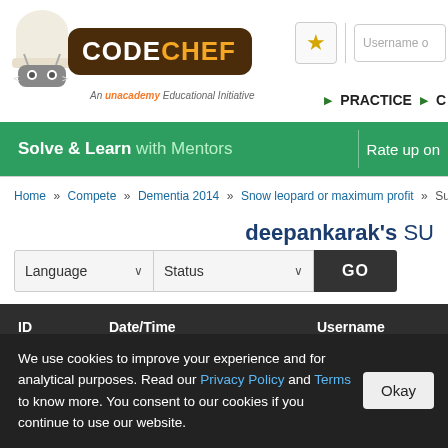[Figure (logo): CodeChef logo with chef hat mascot and tagline 'An unacademy Educational Initiative']
Username o | PRACTICE | C
[Figure (infographic): Green banner: Solve & Learn with Mentors | Rate up on]
Home » Compete » Dementia 2014 » Snow leopard or maximum profit » Submissions
deepankarak's SU
Language dropdown | Status dropdown | GO button
| ID | Date/Time | Username |
| --- | --- | --- |
We use cookies to improve your experience and for analytical purposes. Read our Privacy Policy and Terms to know more. You consent to our cookies if you continue to use our website.